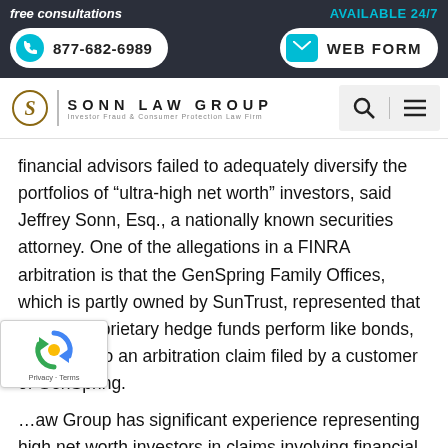free consultations | AVAILABLE 24/7 | 877-682-6989 | WEB FORM
[Figure (logo): Sonn Law Group logo — stylized S in circle, vertical bar, text SONN LAW GROUP, Investor Fraud & Consumer Protection Law Firm, search icon, hamburger menu icon]
financial advisors failed to adequately diversify the portfolios of “ultra-high net worth” investors, said Jeffrey Sonn, Esq., a nationally known securities attorney. One of the allegations in a FINRA arbitration is that the GenSpring Family Offices, which is partly owned by SunTrust, represented that certain proprietary hedge funds perform like bonds, according to an arbitration claim filed by a customer of GenSpring.
…aw Group has significant experience representing high net worth investors in claims involving financial